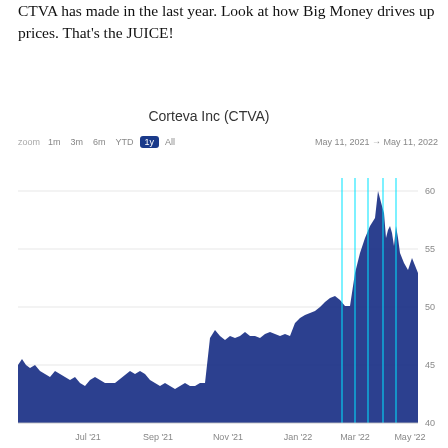CTVA has made in the last year. Look at how Big Money drives up prices. That's the JUICE!
[Figure (area-chart): Area chart of CTVA stock price from May 11, 2021 to May 11, 2022, showing price rising from ~43 to a peak near 62, with cyan vertical lines marking Big Money buy signals in the Mar-May 2022 period. Y-axis labels: 40, 45, 50, 55, 60. X-axis labels: Jul '21, Sep '21, Nov '21, Jan '22, Mar '22, May '22.]